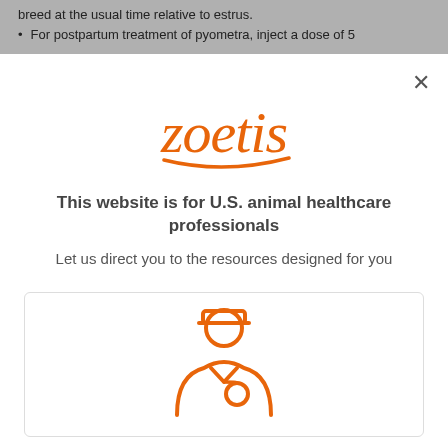breed at the usual time relative to estrus.
For postpartum treatment of pyometra, inject a dose of 5
[Figure (logo): Zoetis company logo in orange]
×
This website is for U.S. animal healthcare professionals
Let us direct you to the resources designed for you
[Figure (illustration): Orange outline icon of a veterinarian/healthcare professional with a stethoscope]